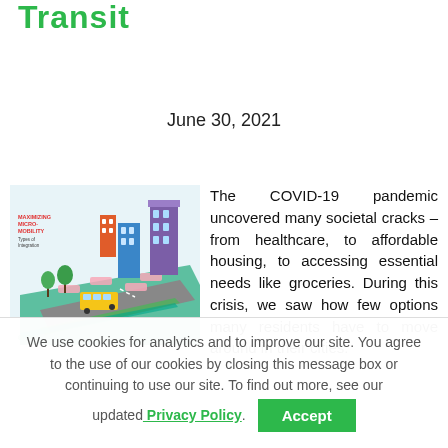Transit
June 30, 2021
[Figure (illustration): ITDP report cover illustration: 'Maximizing Micro-Mobility Types of Integration' showing an isometric city street scene with buildings, bus, cycling lanes, and micro-mobility vehicles.]
The COVID-19 pandemic uncovered many societal cracks – from healthcare, to affordable housing, to accessing essential needs like groceries. During this crisis, we saw how few options many residents have to move around in their cities.
We use cookies for analytics and to improve our site. You agree to the use of our cookies by closing this message box or continuing to use our site. To find out more, see our updated Privacy Policy.